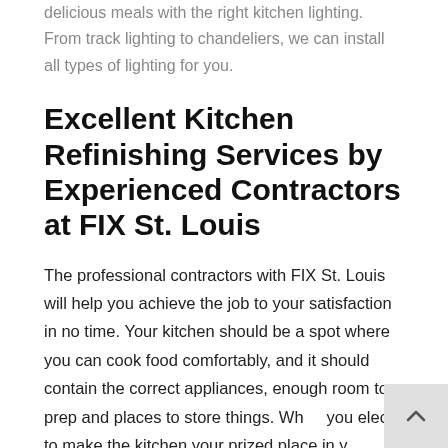delicious meals with the right kitchen lighting. From track lighting to chandeliers, we can install all types of lighting for you.
Excellent Kitchen Refinishing Services by Experienced Contractors at FIX St. Louis
The professional contractors with FIX St. Louis will help you achieve the job to your satisfaction in no time. Your kitchen should be a spot where you can cook food comfortably, and it should contain the correct appliances, enough room to prep and places to store things. When you elect to make the kitchen your prized place in your house, FIX St. Louis is at the ready to help you execute